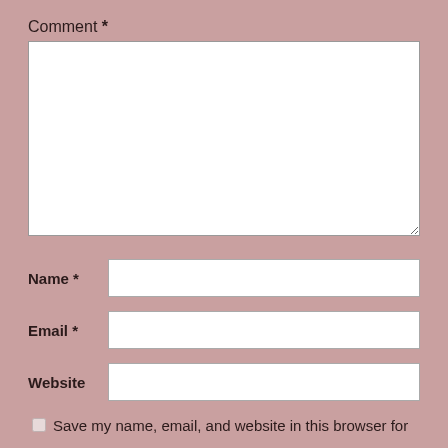Comment *
[Figure (other): Large empty textarea for comment input]
Name *
Email *
Website
Save my name, email, and website in this browser for